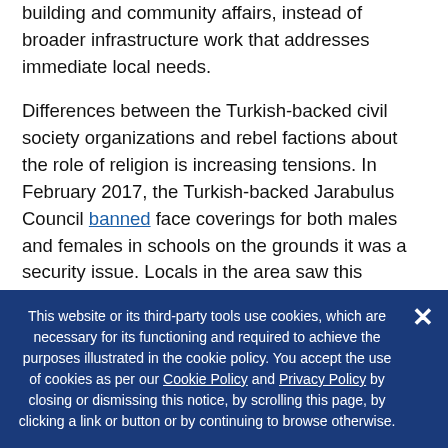locals is that Anikrd is allocating money to mosque building and community affairs, instead of broader infrastructure work that addresses immediate local needs.
Differences between the Turkish-backed civil society organizations and rebel factions about the role of religion is increasing tensions. In February 2017, the Turkish-backed Jarabulus Council banned face coverings for both males and females in schools on the grounds it was a security issue. Locals in the area saw this decision as un-Islamic and authoritarian and began protesting the decision
This website or its third-party tools use cookies, which are necessary for its functioning and required to achieve the purposes illustrated in the cookie policy. You accept the use of cookies as per our Cookie Policy and Privacy Policy by closing or dismissing this notice, by scrolling this page, by clicking a link or button or by continuing to browse otherwise.